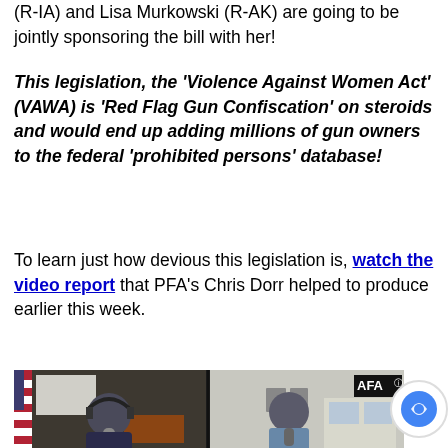(R-IA) and Lisa Murkowski (R-AK) are going to be jointly sponsoring the bill with her!
This legislation, the ‘Violence Against Women Act’ (VAWA) is ‘Red Flag Gun Confiscation’ on steroids and would end up adding millions of gun owners to the federal ‘prohibited persons’ database!
To learn just how devious this legislation is, watch the video report that PFA’s Chris Dorr helped to produce earlier this week.
[Figure (screenshot): Video thumbnail showing four people in a split-screen video call format with an American flag background, one panel shows the AFA logo.]